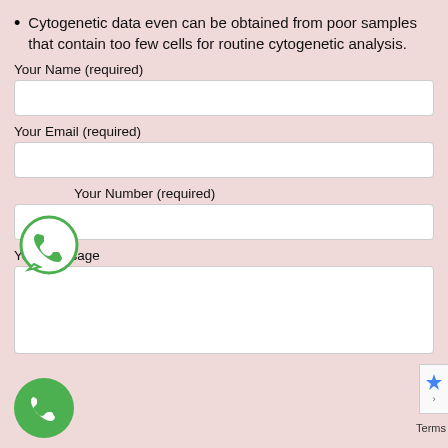Cytogenetic data even can be obtained from poor samples that contain too few cells for routine cytogenetic analysis.
Your Name (required)
Your Email (required)
Your Number (required)
Your Message
[Figure (logo): WhatsApp icon (green circle with phone handset), appearing twice on page as floating overlay buttons]